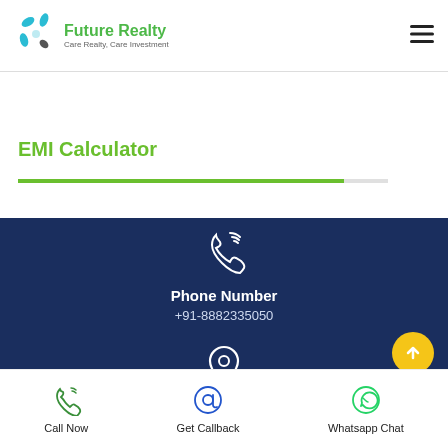[Figure (logo): Future Realty logo with teal/blue swirl icon and green brand text, tagline: Care Realty, Care Investment]
EMI Calculator
Phone Number
+91-8882335050
[Figure (illustration): Map pin / location icon in white outline on dark blue background]
Call Now
Get Callback
Whatsapp Chat